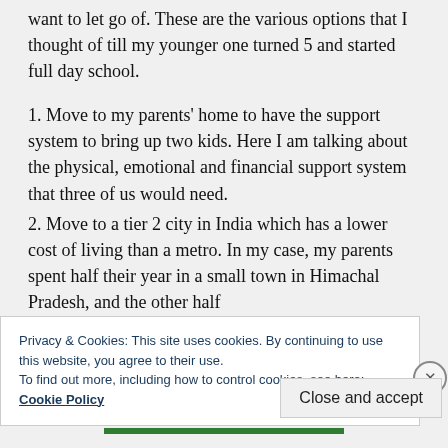want to let go of. These are the various options that I thought of till my younger one turned 5 and started full day school.
1. Move to my parents' home to have the support system to bring up two kids. Here I am talking about the physical, emotional and financial support system that three of us would need.
2. Move to a tier 2 city in India which has a lower cost of living than a metro. In my case, my parents spent half their year in a small town in Himachal Pradesh, and the other half
Privacy & Cookies: This site uses cookies. By continuing to use this website, you agree to their use.
To find out more, including how to control cookies, see here: Cookie Policy
Close and accept